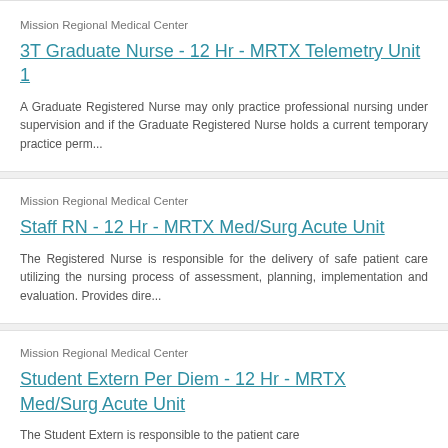Mission Regional Medical Center
3T Graduate Nurse - 12 Hr - MRTX Telemetry Unit 1
A Graduate Registered Nurse may only practice professional nursing under supervision and if the Graduate Registered Nurse holds a current temporary practice perm...
Mission Regional Medical Center
Staff RN - 12 Hr - MRTX Med/Surg Acute Unit
The Registered Nurse is responsible for the delivery of safe patient care utilizing the nursing process of assessment, planning, implementation and evaluation. Provides dire...
Mission Regional Medical Center
Student Extern Per Diem - 12 Hr - MRTX Med/Surg Acute Unit
The Student Extern is responsible to the patient care...